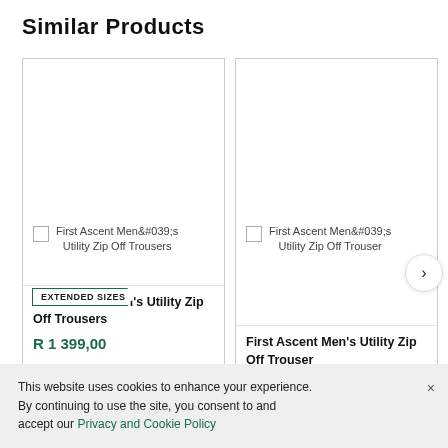Similar Products
[Figure (screenshot): Product card 1: First Ascent Men's Utility Zip Off Trousers with EXTENDED SIZES badge]
[Figure (screenshot): Product card 2: First Ascent Men's Utility Zip Off Trouser]
First Ascent Men's Utility Zip Off Trousers
R 1 399,00
First Ascent Men's Utility Zip Off Trouser
R 1 399,00
This website uses cookies to enhance your experience. By continuing to use the site, you consent to and accept our Privacy and Cookie Policy